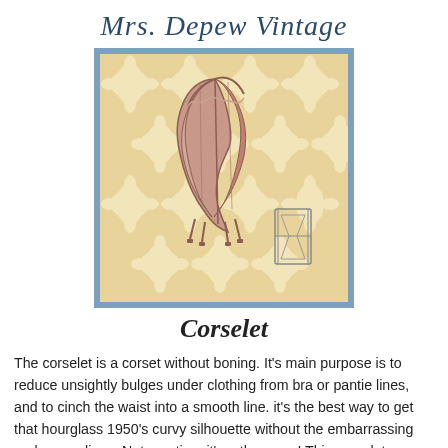Mrs. Depew Vintage
[Figure (illustration): Vintage illustration of a corselet (corset without boning) displayed against a yellow damask/floral patterned background with a blue border frame. A small hourglass figure appears in the lower right.]
Corselet
The corselet is a corset without boning. It's main purpose is to reduce unsightly bulges under clothing from bra or pantie lines, and to cinch the waist into a smooth line. it's the best way to get that hourglass 1950's curvy silhouette without the embarrassing underwear lines. Not mention, it's rather sexy! This corselot can either be closed in front with a zipper or